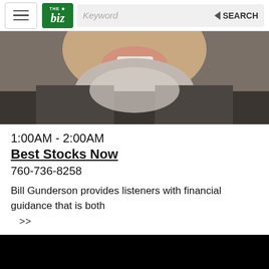The Biz — Keyword SEARCH
[Figure (photo): Close-up photo of a smiling man with grey stubble beard, wearing a dark jacket, cropped at the chin and lower face]
1:00AM - 2:00AM
Best Stocks Now
760-736-8258
Bill Gunderson provides listeners with financial guidance that is both
>>
[Figure (photo): Black rectangle — bottom portion of a photo not yet visible]